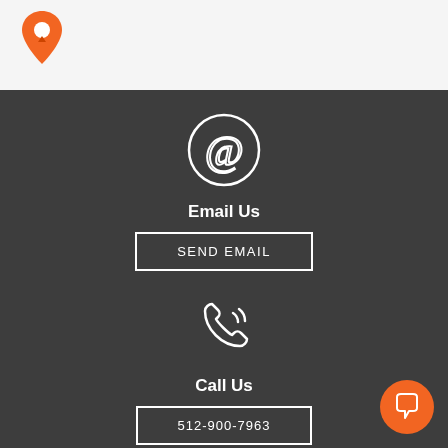[Figure (logo): Orange map pin / location marker logo in top-left corner]
[Figure (illustration): White outline @ (at) symbol icon in circle on dark background]
Email Us
SEND EMAIL
[Figure (illustration): White outline phone/call icon with signal waves on dark background]
Call Us
512-900-7963
[Figure (illustration): Orange circle chat bubble button in bottom-right corner]
[Figure (illustration): Partial white outline square/chat icon at bottom center]